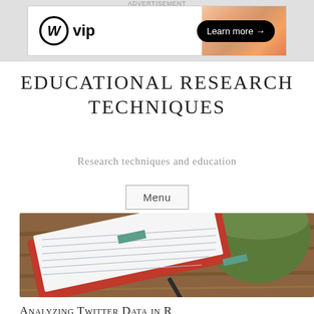[Figure (screenshot): Advertisement banner for WordPress VIP with orange gradient background and 'Learn more →' button]
EDUCATIONAL RESEARCH TECHNIQUES
Research techniques and education
Menu
[Figure (photo): Photo of a spiral notebook with red cover and pen, alongside a green mug on a wooden table]
Analyzing Twitter Data in R